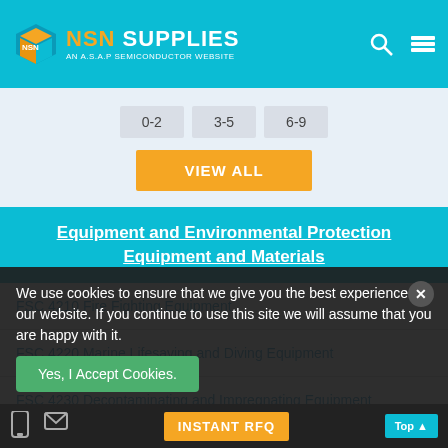NSN SUPPLIES - AN A.S.A.P SEMICONDUCTOR WEBSITE
0-2
3-5
6-9
VIEW ALL
Equipment and Environmental Protection Equipment and Materials
FSC 4210 Fire Fighting Equipment
FSC 4220 Marine Lifesaving and Diving Equipment
FSC 4230 Decontaminating and Impregnating Equipment
We use cookies to ensure that we give you the best experience on our website. If you continue to use this site we will assume that you are happy with it.
Yes, I Accept Cookies.
INSTANT RFQ